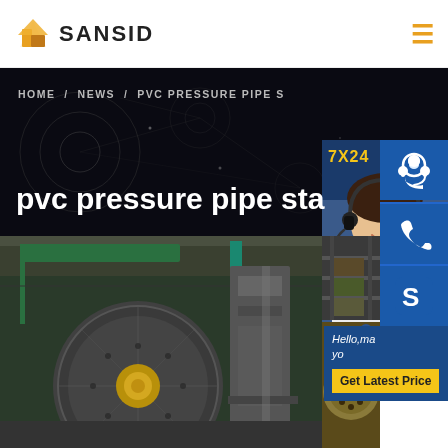[Figure (logo): SANSID company logo with orange diamond/house shape icon and SANSID text]
HOME / NEWS / PVC PRESSURE PIPE S
pvc pressure pipe sta
[Figure (photo): Industrial manufacturing facility showing large circular die head and press machinery]
[Figure (photo): Customer service representative with headset, 7X24 support label]
[Figure (photo): Industrial machinery close-up, right top]
[Figure (photo): Circular perforated metal plate on workshop floor, right bottom]
Hello,ma yo
Get Latest Price